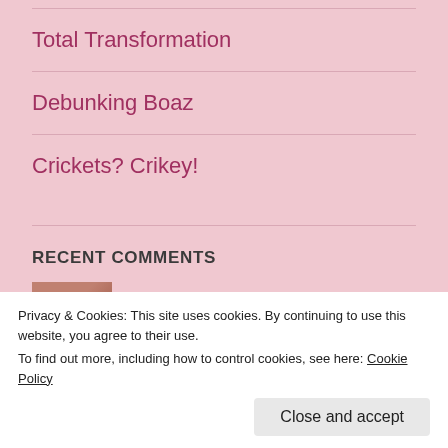Total Transformation
Debunking Boaz
Crickets? Crikey!
RECENT COMMENTS
Kim Petitt on While You're Waiting...
Privacy & Cookies: This site uses cookies. By continuing to use this website, you agree to their use.
To find out more, including how to control cookies, see here: Cookie Policy
Close and accept